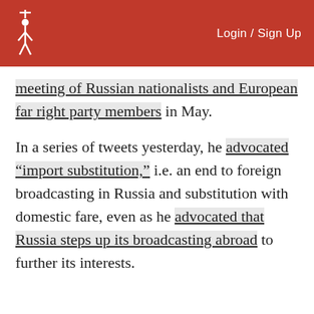Login / Sign Up
meeting of Russian nationalists and European far right party members in May.
In a series of tweets yesterday, he advocated “import substitution,” i.e. an end to foreign broadcasting in Russia and substitution with domestic fare, even as he advocated that Russia steps up its broadcasting abroad to further its interests.